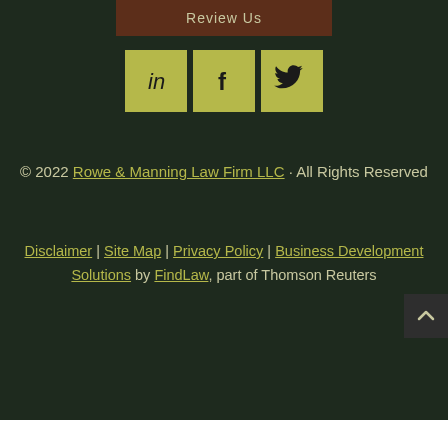[Figure (other): Brown 'Review Us' button/banner at top center]
[Figure (other): Three social media icon buttons (LinkedIn, Facebook, Twitter) with olive/yellow-green background]
© 2022 Rowe & Manning Law Firm LLC · All Rights Reserved
Disclaimer | Site Map | Privacy Policy | Business Development Solutions by FindLaw, part of Thomson Reuters